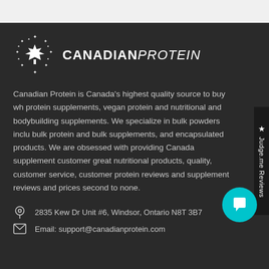[Figure (logo): Canadian Protein logo with maple leaf surrounded by stars and bold text CANADIANPROTEIN]
Canadian Protein is Canada's highest quality source to buy wh protein supplements, vegan protein and nutritional and bodybuilding supplements. We specialize in bulk powders inclu bulk protein and bulk supplements, and encapsulated products. We are obsessed with providing Canada supplement customer great nutritional products, quality, customer service, customer protein reviews and supplement reviews and prices second to none.
2835 Kew Dr Unit #6, Windsor, Ontario N8T 3B7
Email: support@canadianprotein.com